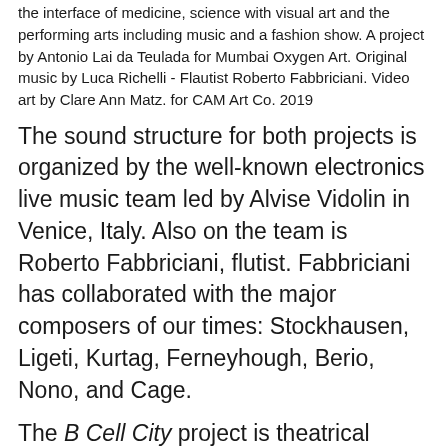the interface of medicine, science with visual art and the performing arts including music and a fashion show. A project by Antonio Lai da Teulada for Mumbai Oxygen Art. Original music by Luca Richelli - Flautist Roberto Fabbriciani. Video art by Clare Ann Matz. for CAM Art Co. 2019
The sound structure for both projects is organized by the well-known electronics live music team led by Alvise Vidolin in Venice, Italy. Also on the team is Roberto Fabbriciani, flutist. Fabbriciani has collaborated with the major composers of our times: Stockhausen, Ligeti, Kurtag, Ferneyhough, Berio, Nono, and Cage.
The B Cell City project is theatrical visual architecture, with a creative-scientific approach to the process of oncogenesis and tumor progression related to the crisis of environmental climate, which may be responsible, in part, for the mutation of the